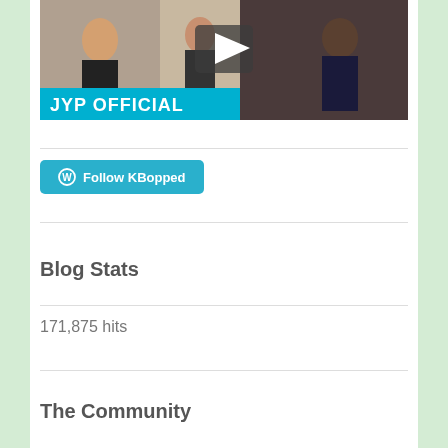[Figure (screenshot): Video thumbnail showing a group of people dancing with a play button overlay and 'JYP OFFICIAL' text on a blue banner at the bottom]
[Figure (other): Follow KBopped WordPress button in teal/cyan color with WordPress logo icon]
Blog Stats
171,875 hits
The Community